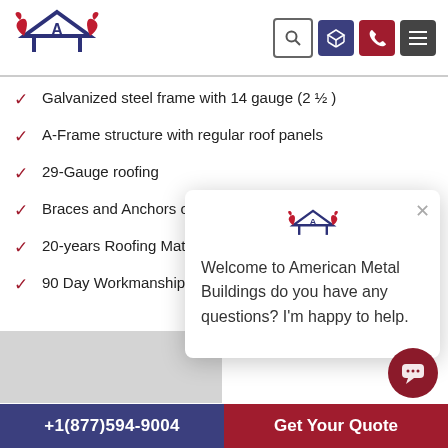[Figure (logo): American Metal Buildings logo with A-frame roof and eagle wings, red and navy blue]
Galvanized steel frame with 14 gauge (2 ½ )
A-Frame structure with regular roof panels
29-Gauge roofing
Braces and Anchors on every leg for longer stability
20-years Roofing Material Warranty*
90 Day Workmanship Warranty
[Figure (screenshot): Chat popup with American Metal Buildings logo and welcome message: Welcome to American Metal Buildings do you have any questions? I'm happy to help.]
Welcome to American Metal Buildings do you have any questions? I'm happy to help.
+1(877)594-9004   Get Your Quote